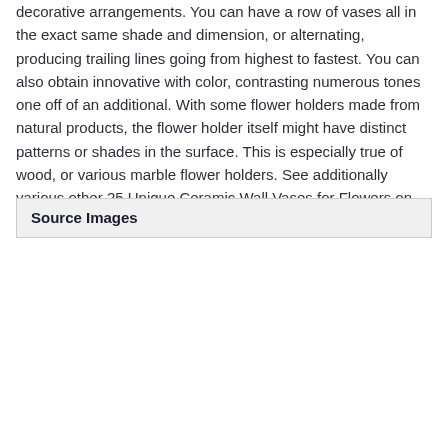decorative arrangements. You can have a row of vases all in the exact same shade and dimension, or alternating, producing trailing lines going from highest to fastest. You can also obtain innovative with color, contrasting numerous tones one off of an additional. With some flower holders made from natural products, the flower holder itself might have distinct patterns or shades in the surface. This is especially true of wood, or various marble flower holders. See additionally various other 25 Unique Ceramic Wall Vases for Flowers on our site!
Source Images